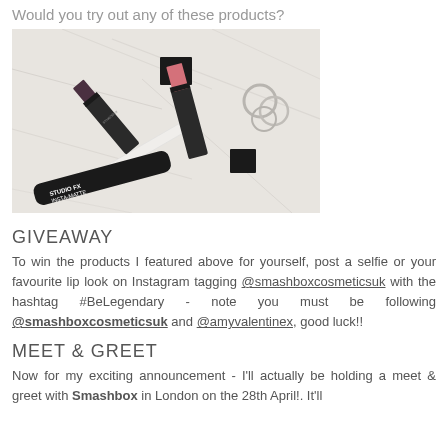Would you try out any of these products?
[Figure (photo): Flat lay photo of Smashbox cosmetics on marble surface including lipsticks, a lip liner, an Insta-Matte product, and silver rings]
GIVEAWAY
To win the products I featured above for yourself, post a selfie or your favourite lip look on Instagram tagging @smashboxcosmeticsuk with the hashtag #BeLegendary - note you must be following @smashboxcosmeticsuk and @amyvalentinex, good luck!!
MEET & GREET
Now for my exciting announcement - I'll actually be holding a meet & greet with Smashbox in London on the 28th April!. It'll